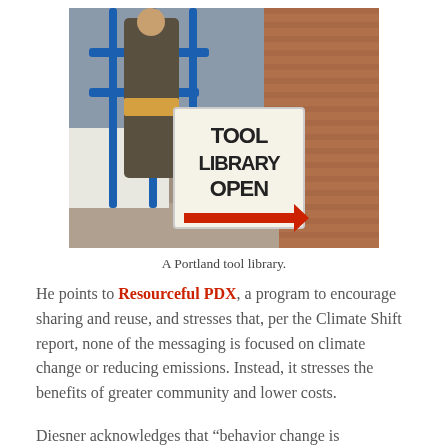[Figure (photo): A person carrying tools walking past a sign reading 'TOOL LIBRARY OPEN' with a red arrow, leaning against a blue railing outside a brick building.]
A Portland tool library.
He points to Resourceful PDX, a program to encourage sharing and reuse, and stresses that, per the Climate Shift report, none of the messaging is focused on climate change or reducing emissions. Instead, it stresses the benefits of greater community and lower costs.
Diesner acknowledges that “behavior change is exceedingly difficult,” so he prefers to focus on